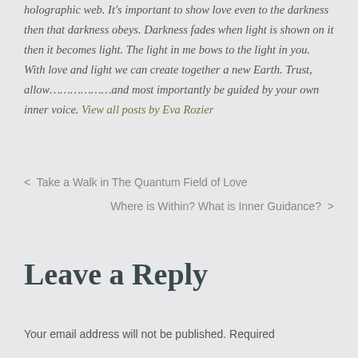holographic web. It's important to show love even to the darkness then that darkness obeys. Darkness fades when light is shown on it then it becomes light. The light in me bows to the light in you. With love and light we can create together a new Earth. Trust, allow…………………and most importantly be guided by your own inner voice. View all posts by Eva Rozier
< Take a Walk in The Quantum Field of Love
Where is Within? What is Inner Guidance? >
Leave a Reply
Your email address will not be published. Required